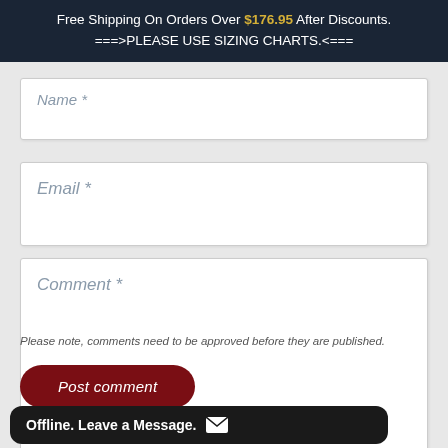Free Shipping On Orders Over $176.95 After Discounts. ===>PLEASE USE SIZING CHARTS.<===
Name *
Email *
Comment *
Please note, comments need to be approved before they are published.
Post comment
Offline. Leave a Message.